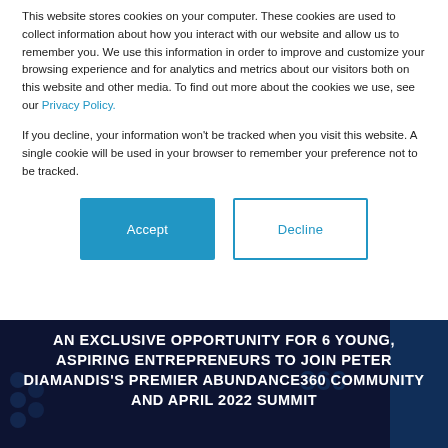This website stores cookies on your computer. These cookies are used to collect information about how you interact with our website and allow us to remember you. We use this information in order to improve and customize your browsing experience and for analytics and metrics about our visitors both on this website and other media. To find out more about the cookies we use, see our Privacy Policy.
If you decline, your information won't be tracked when you visit this website. A single cookie will be used in your browser to remember your preference not to be tracked.
[Figure (other): Two buttons: a filled blue 'Accept' button and an outlined blue 'Decline' button, centered horizontally]
AN EXCLUSIVE OPPORTUNITY FOR 6 YOUNG, ASPIRING ENTREPRENEURS TO JOIN PETER DIAMANDIS'S PREMIER ABUNDANCE360 COMMUNITY AND APRIL 2022 SUMMIT